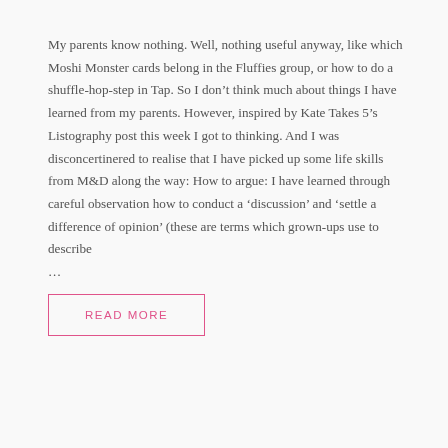My parents know nothing. Well, nothing useful anyway, like which Moshi Monster cards belong in the Fluffies group, or how to do a shuffle-hop-step in Tap. So I don't think much about things I have learned from my parents. However, inspired by Kate Takes 5's Listography post this week I got to thinking. And I was disconcertinered to realise that I have picked up some life skills from M&D along the way: How to argue: I have learned through careful observation how to conduct a ‘discussion’ and ‘settle a difference of opinion’ (these are terms which grown-ups use to describe …
READ MORE